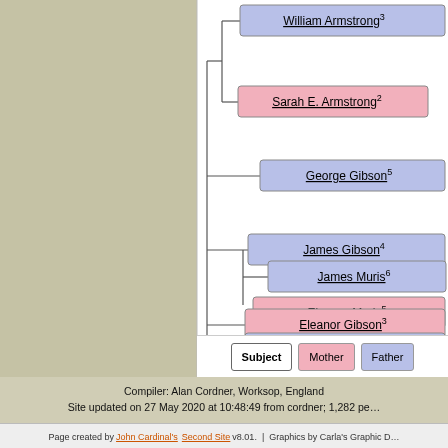[Figure (organizational-chart): Genealogy/family tree chart showing ancestors: William Armstrong (male, sup 3), Sarah E. Armstrong (female, sup 2), George Gibson (male, sup 5), James Gibson (male, sup 4), James Muris (male, sup 6), Eleanor Muris (female, sup 5), Eleanor Gibson (female, sup 3), William Dixon (male, sup 5), Elizabeth Dixon (female, sup 4), Jane Turnbul (female, sup 5). Connected by lines showing parent-child relationships. Legend: Subject (white), Mother (pink), Father (blue).]
Compiler: Alan Cordner, Worksop, England
Site updated on 27 May 2020 at 10:48:49 from cordner; 1,282 pe…
Page created by John Cardinal's Second Site v8.01. | Graphics by Carla's Graphic D…